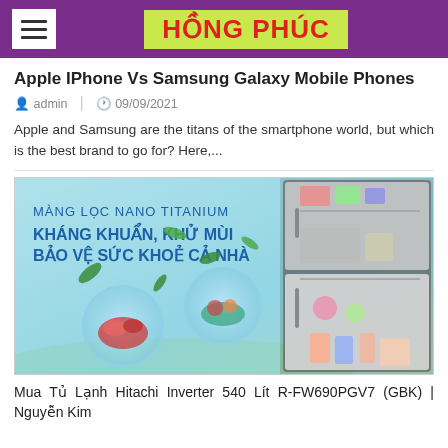HỒNG PHÚC
Apple IPhone Vs Samsung Galaxy Mobile Phones
admin  |  09/09/2021
Apple and Samsung are the titans of the smartphone world, but which is the best brand to go for? Here,...
[Figure (photo): Advertisement image for Hitachi refrigerator with Nano Titanium filter - text reads: MÀNG LỌC NANO TITANIUM KHÁNG KHUẨN, KHỬ MÙI BẢO VỆ SỨC KHOẺ CẢ NHÀ. Shows open refrigerator with food and green leaves.]
Mua Tủ Lạnh Hitachi Inverter 540 Lít R-FW690PGV7 (GBK) | Nguyễn Kim